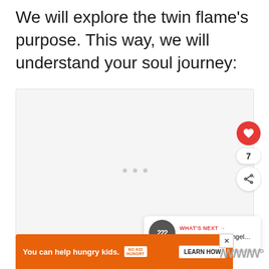We will explore the twin flame's purpose. This way, we will understand your soul journey:
[Figure (other): Large light gray placeholder image box with three small gray dots in the center, with a red heart like button (showing count 7) and a share button overlaid on the right side, and a 'What's Next' widget showing '222 Twin Flame Angel...' in the bottom-right corner]
[Figure (other): Orange advertisement banner reading 'You can help hungry kids.' with No Kid Hungry logo and a 'LEARN HOW' button, with a close X button]